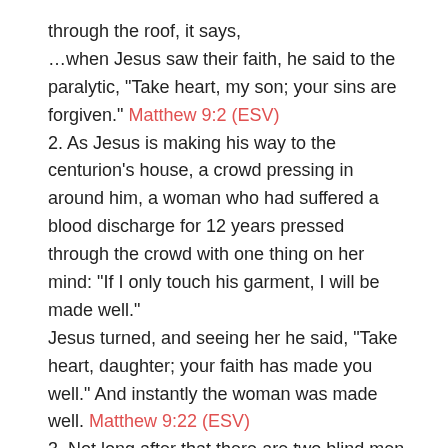through the roof, it says,
…when Jesus saw their faith, he said to the paralytic, "Take heart, my son; your sins are forgiven." Matthew 9:2 (ESV)
2. As Jesus is making his way to the centurion's house, a crowd pressing in around him, a woman who had suffered a blood discharge for 12 years pressed through the crowd with one thing on her mind: "If I only touch his garment, I will be made well."
Jesus turned, and seeing her he said, "Take heart, daughter; your faith has made you well." And instantly the woman was made well. Matthew 9:22 (ESV)
3. Not long after that there are two blind men in the